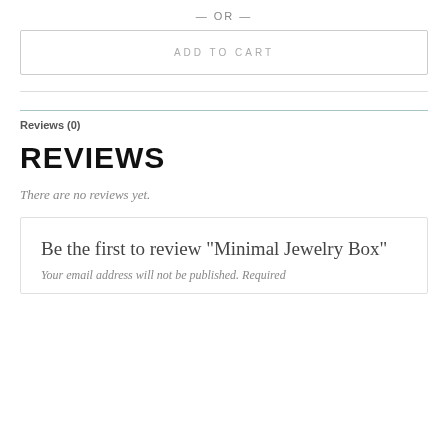— OR —
ADD TO CART
Reviews (0)
REVIEWS
There are no reviews yet.
Be the first to review “Minimal Jewelry Box”
Your email address will not be published. Required